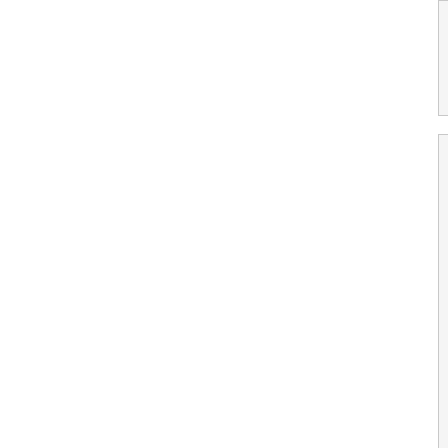http://www.statsoft.com/textbook/stmulr
"The general purpose of multiple regres between several independent or predict
August 2nd, 2008, 7:47 am
JOE M. said:
Alex,
Do you know who Alon Liel is? I mean, Israeli opinion he is? He is basically a m he is officially, but he is very close with of your friend SHAI. And, simply put, the verge of electing Netanyahu as prime m second or third largest party, followed b the 5 biggest parties in Israel are radica because both Livni and Mofaz are to the and only labor is centrist. Mr. Liel's part not rest your hopes on him.

As for publicity stunts, Abbas goes ever does countless interviews..... It has don fact, it weakens it significantly. Bashar i

And, to be clear, I don't have a problem were an unofficial delegation from the S with AIPAC. Obviously, AIPAC leaked th them. It was just a disgraceful episode.

And just to be clear, I don't want to have about what the situation is. If you becom like Abu Mazin, where every day you b